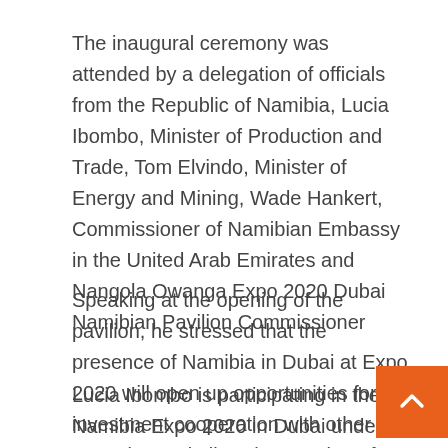The inaugural ceremony was attended by a delegation of officials from the Republic of Namibia, Lucia Ibombo, Minister of Production and Trade, Tom Elvindo, Minister of Energy and Mining, Wade Hankert, Commissioner of Namibian Embassy in the United Arab Emirates and Nangola Owanga Expo 2020 Dubai Namibian Pavilion Commissioner
Speaking at the opening of the pavilion, he stressed that the presence of Namibia in Dubai at Expo 2020 will open up opportunities for investment cooperation with other countries and allow the creation of jobs for the citizens of this African country.
Lucia Ibombo is participating in the Namibia Expo 2020 in Dubai under the slogan "Preserve Our Natural Treasures and Use them for Future Generations